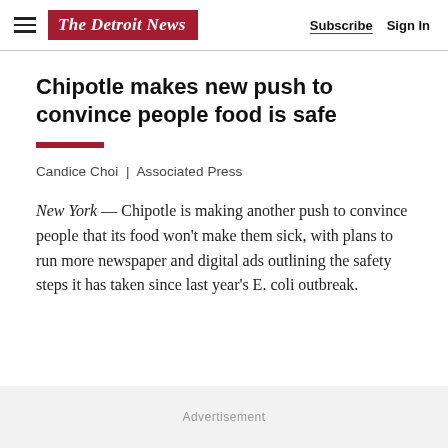The Detroit News | Subscribe  Sign In
Chipotle makes new push to convince people food is safe
Candice Choi  |  Associated Press
New York — Chipotle is making another push to convince people that its food won't make them sick, with plans to run more newspaper and digital ads outlining the safety steps it has taken since last year's E. coli outbreak.
Advertisement